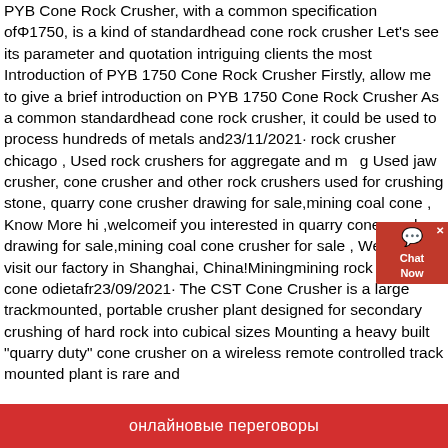PYB Cone Rock Crusher, with a common specification ofΦ1750, is a kind of standardhead cone rock crusher Let's see its parameter and quotation intriguing clients the most Introduction of PYB 1750 Cone Rock Crusher Firstly, allow me to give a brief introduction on PYB 1750 Cone Rock Crusher As a common standardhead cone rock crusher, it could be used to process hundreds of metals and23/11/2021· rock crusher chicago , Used rock crushers for aggregate and mining Used jaw crusher, cone crusher and other rock crushers used for crushing stone, quarry cone crusher drawing for sale,mining coal cone , Know More hi ,welcomeif you interested in quarry cone crusher drawing for sale,mining coal cone crusher for sale , Welcome to visit our factory in Shanghai, China!Miningmining rock crushing cone odietafr23/09/2021· The CST Cone Crusher is a large trackmounted, portable crusher plant designed for secondary crushing of hard rock into cubical sizes Mounting a heavy built "quarry duty" cone crusher on a wireless remote controlled track mounted plant is rare and
[Figure (other): Chat Now widget — red box with close X, chat bubble icon, and 'Chat Now' text]
онлайновые переговоры